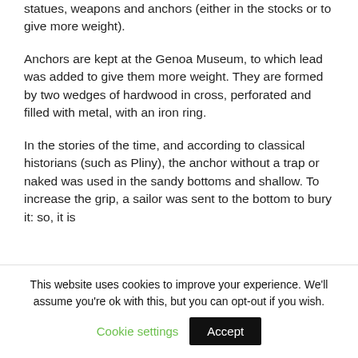statues, weapons and anchors (either in the stocks or to give more weight).
Anchors are kept at the Genoa Museum, to which lead was added to give them more weight. They are formed by two wedges of hardwood in cross, perforated and filled with metal, with an iron ring.
In the stories of the time, and according to classical historians (such as Pliny), the anchor without a trap or naked was used in the sandy bottoms and shallow. To increase the grip, a sailor was sent to the bottom to bury it: so, it is
This website uses cookies to improve your experience. We'll assume you're ok with this, but you can opt-out if you wish.
Cookie settings
Accept